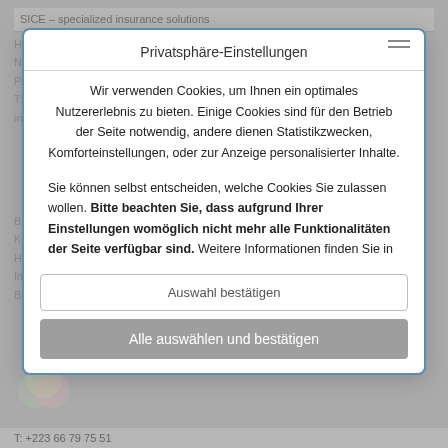Privatsphäre-Einstellungen
Wir verwenden Cookies, um Ihnen ein optimales Nutzererlebnis zu bieten. Einige Cookies sind für den Betrieb der Seite notwendig, andere dienen Statistikzwecken, Komforteinstellungen, oder zur Anzeige personalisierter Inhalte.
Sie können selbst entscheiden, welche Cookies Sie zulassen wollen. Bitte beachten Sie, dass aufgrund Ihrer Einstellungen womöglich nicht mehr alle Funktionalitäten der Seite verfügbar sind. Weitere Informationen finden Sie in
Auswahl bestätigen
Alle auswählen und bestätigen